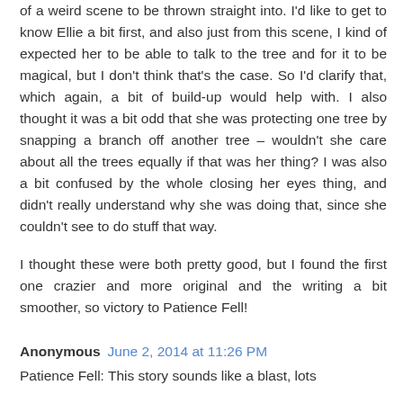of a weird scene to be thrown straight into. I'd like to get to know Ellie a bit first, and also just from this scene, I kind of expected her to be able to talk to the tree and for it to be magical, but I don't think that's the case. So I'd clarify that, which again, a bit of build-up would help with. I also thought it was a bit odd that she was protecting one tree by snapping a branch off another tree – wouldn't she care about all the trees equally if that was her thing? I was also a bit confused by the whole closing her eyes thing, and didn't really understand why she was doing that, since she couldn't see to do stuff that way.
I thought these were both pretty good, but I found the first one crazier and more original and the writing a bit smoother, so victory to Patience Fell!
Anonymous June 2, 2014 at 11:26 PM
Patience Fell: This story sounds like a blast, lots